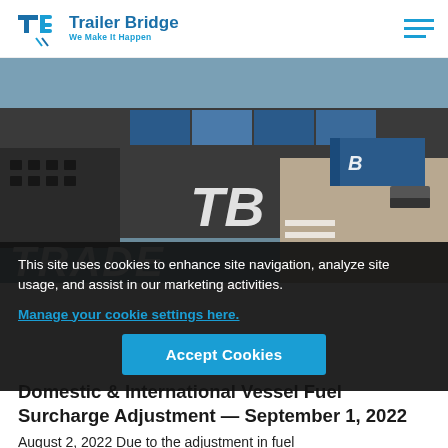Trailer Bridge — We Make It Happen
[Figure (photo): Aerial view of a large cargo ship with TB (Trailer Bridge) logo and shipping containers being loaded/unloaded at port. Text overlay reading 'TRADE' visible at bottom left of image.]
This site uses cookies to enhance site navigation, analyze site usage, and assist in our marketing activities.
Manage your cookie settings here.
Accept Cookies
Domestic & International Vessel Fuel Surcharge Adjustment — September 1, 2022
August 2, 2022 Due to the adjustment in fuel